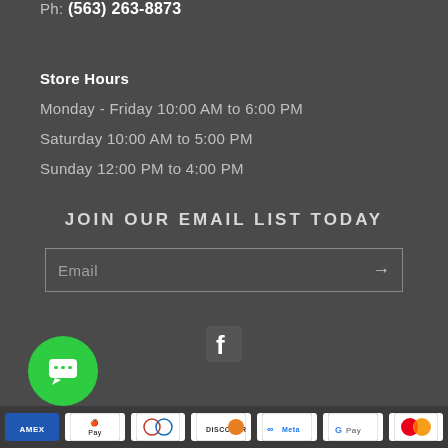Ph: (563) 263-8873
Store Hours
Monday - Friday 10:00 AM to 6:00 PM
Saturday 10:00 AM to 5:00 PM
Sunday 12:00 PM to 4:00 PM
JOIN OUR EMAIL LIST TODAY
Email
[Figure (logo): Facebook icon - white F on dark square with rounded corners]
[Figure (other): Green circular chat/messaging button with chat bubble icon]
[Figure (other): Payment method icons: AMEX, Apple Pay, Diners Club, Discover, Meta, Google Pay, Mastercard]